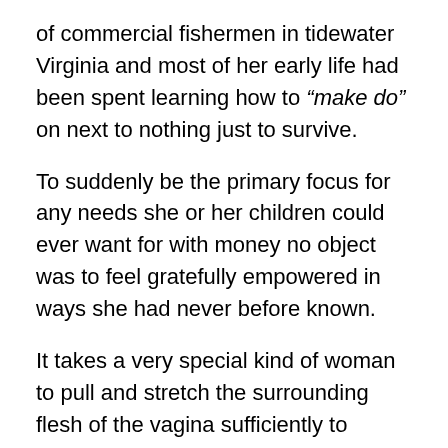of commercial fishermen in tidewater Virginia and most of her early life had been spent learning how to “make do” on next to nothing just to survive.
To suddenly be the primary focus for any needs she or her children could ever want for with money no object was to feel gratefully empowered in ways she had never before known.
It takes a very special kind of woman to pull and stretch the surrounding flesh of the vagina sufficiently to accommodate the delivery of a child. If you have ever been privileged to witness a birth with the assistance of a midwife and compare it to any hospital delivery you’ve ever seen you quickly realize  how nurturing and baby-friendly the former is compared to the industrial atmosphere of a hospital delivery.